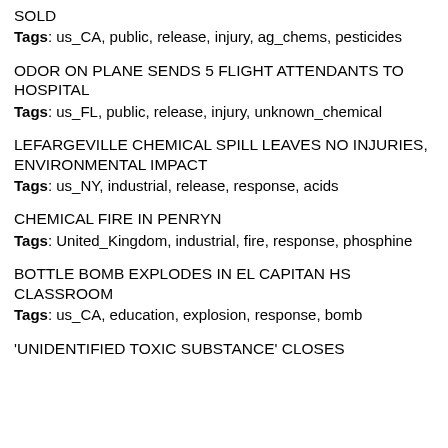SOLD
Tags: us_CA, public, release, injury, ag_chems, pesticides
ODOR ON PLANE SENDS 5 FLIGHT ATTENDANTS TO HOSPITAL
Tags: us_FL, public, release, injury, unknown_chemical
LEFARGEVILLE CHEMICAL SPILL LEAVES NO INJURIES, ENVIRONMENTAL IMPACT
Tags: us_NY, industrial, release, response, acids
CHEMICAL FIRE IN PENRYN
Tags: United_Kingdom, industrial, fire, response, phosphine
BOTTLE BOMB EXPLODES IN EL CAPITAN HS CLASSROOM
Tags: us_CA, education, explosion, response, bomb
'UNIDENTIFIED TOXIC SUBSTANCE' CLOSES